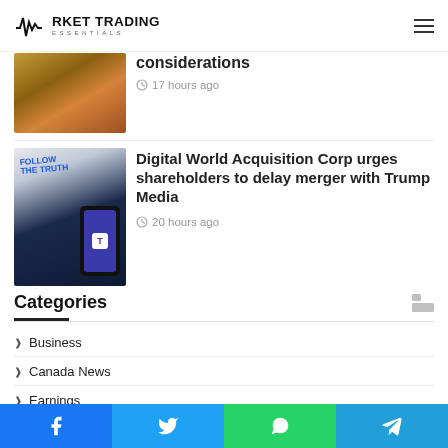Market Trading Essentials
considerations
17 hours ago
Digital World Acquisition Corp urges shareholders to delay merger with Trump Media
20 hours ago
Categories
Business
Canada News
Earnings
Economy